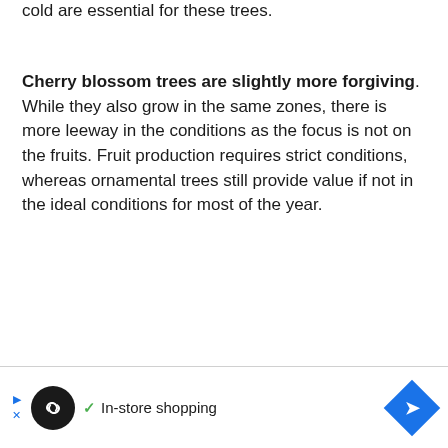cold are essential for these trees.
Cherry blossom trees are slightly more forgiving. While they also grow in the same zones, there is more leeway in the conditions as the focus is not on the fruits. Fruit production requires strict conditions, whereas ornamental trees still provide value if not in the ideal conditions for most of the year.
[Figure (infographic): Advertisement bar at the bottom with a black circular logo with infinity symbol, a green checkmark with 'In-store shopping' text, and a blue diamond navigation arrow icon. Has close/ad indicator icons on the left.]